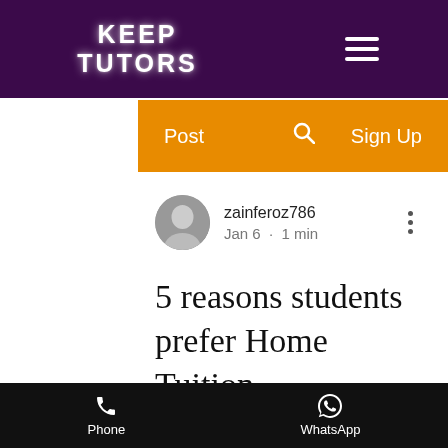KEEP TUTORS
Post  Sign Up
zainferoz786
Jan 6 · 1 min
5 reasons students prefer Home Tuition
[Figure (photo): Blurred indoor/background image for the article]
Phone   WhatsApp